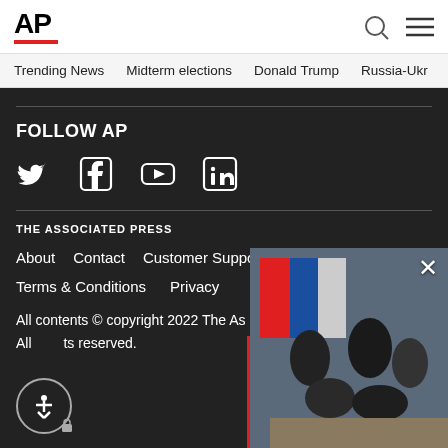AP
Trending News   Midterm elections   Donald Trump   Russia-Ukr
FOLLOW AP
[Figure (illustration): Social media icons: Twitter, Facebook, YouTube, LinkedIn]
THE ASSOCIATED PRESS
About   Contact   Customer Support   Careers
Terms & Conditions   Privacy
All contents © copyright 2022 The As
All rights reserved.
[Figure (photo): News photo showing officials at a signing ceremony with flags in background, partially overlapping the footer content. An X close button is visible in the top right corner.]